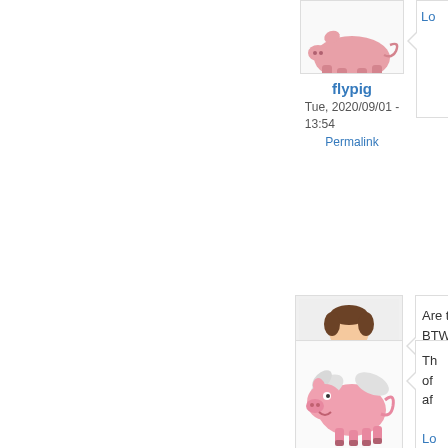[Figure (illustration): Flying pig avatar for user flypig, partially cropped at top]
flypig
Tue, 2020/09/01 - 13:54
Permalink
Lo (truncated speech bubble content)
[Figure (illustration): Generic male user avatar icon for user woidboy]
woidboy
Mon, 2020/08/24 - 10:10
Permalink
Are the BTW, (truncated speech bubble) Log in
[Figure (illustration): Flying pig cartoon avatar, partially visible at bottom]
Th of af (truncated speech bubble) Lo